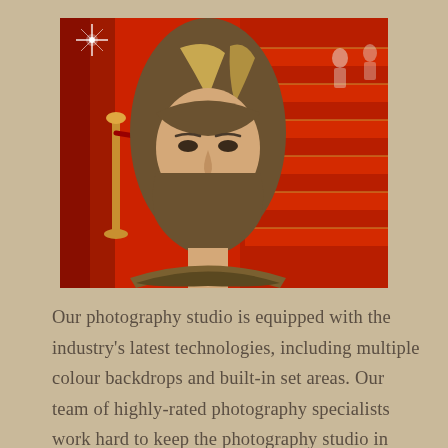[Figure (photo): A mannequin head with a blonde highlighted bob haircut, wearing a patterned scarf, posed against a red carpet staircase background with gold stanchions and red curtains. A lens flare star is visible in the upper left.]
Our photography studio is equipped with the industry's latest technologies, including multiple colour backdrops and built-in set areas. Our team of highly-rated photography specialists work hard to keep the photography studio in perfect shape for your photo shoot while also engaging in a wide range of tasks to ensure that your